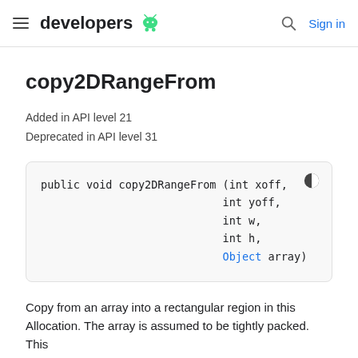developers (Android logo) | Search | Sign in
copy2DRangeFrom
Added in API level 21
Deprecated in API level 31
public void copy2DRangeFrom (int xoff,
                            int yoff,
                            int w,
                            int h,
                            Object array)
Copy from an array into a rectangular region in this Allocation. The array is assumed to be tightly packed. This